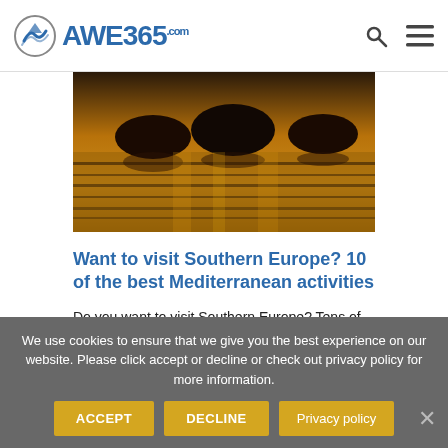AWE365.com
[Figure (photo): Boats on water with golden sunset reflections — harbor scene]
Want to visit Southern Europe? 10 of the best Mediterranean activities
Do you want to visit Southern Europe? Tens of millions of us flock to the Mediterranean each year for the endless sunshine,...
Activities: Coasteering, +...
Destinations: Adriatic Sea, Corsica, Croatia, Cyclades, Dodecanese +...
We use cookies to ensure that we give you the best experience on our website. Please click accept or decline or check out privacy policy for more information.